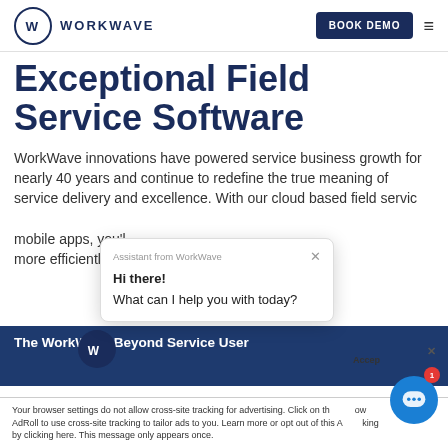[Figure (logo): WorkWave logo: circular W icon and WORKWAVE wordmark in dark navy]
BOOK DEMO
Exceptional Field Service Software
WorkWave innovations have powered service business growth for nearly 40 years and continue to redefine the true meaning of service delivery and excellence. With our cloud based field service mobile apps, you'll more efficiently in
[Figure (screenshot): Chat popup from WorkWave assistant: 'Hi there! What can I help you with today?']
The WorkWave Beyond Service User
Your browser settings do not allow cross-site tracking for advertising. Click on the arrow AdRoll to use cross-site tracking to tailor ads to you. Learn more or opt out of this AdRoll tracking by clicking here. This message only appears once.